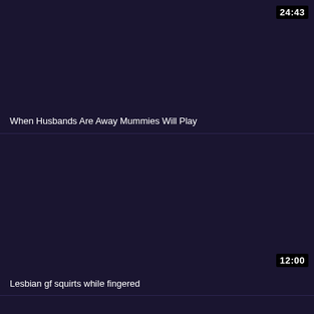[Figure (screenshot): Video thumbnail card 1 with dark purple background, duration 24:43 in top right corner]
When Husbands Are Away Mummies Will Play
[Figure (screenshot): Video thumbnail card 2 with dark purple background, duration 12:00 in bottom right corner]
Lesbian gf squirts while fingered
[Figure (screenshot): Video thumbnail card 3 partially visible at bottom, dark purple background]